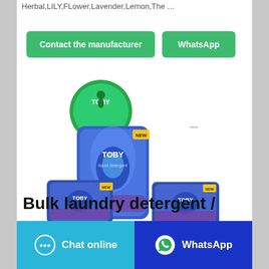Herbal,LILY,FLower,Lavender,Lemon,The …
Contact the manufacturer
WhatsApp
[Figure (photo): TOBY brand laundry detergent packets — multiple blue/purple foil sachets with the TOBY logo and a water droplet graphic, arranged in a group]
Bulk laundry detergent /
Chat online
WhatsApp